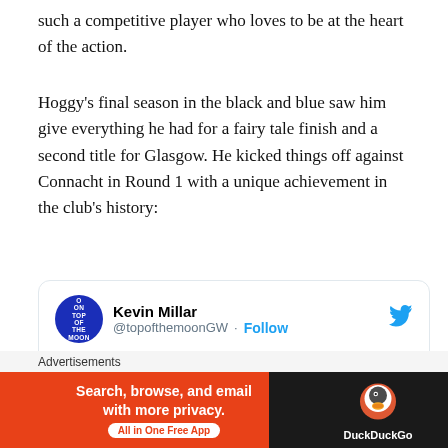such a competitive player who loves to be at the heart of the action.
Hoggy's final season in the black and blue saw him give everything he had for a fairy tale finish and a second title for Glasgow. He kicked things off against Connacht in Round 1 with a unique achievement in the club's history:
[Figure (screenshot): Embedded tweet from Kevin Millar (@topofthemoonGW) with Follow button and Twitter bird icon. Tweet text begins: 'This afternoon's heroics mean @StuartWHOGG has become']
Advertisements
[Figure (other): DuckDuckGo advertisement banner: 'Search, browse, and email with more privacy. All in One Free App' with DuckDuckGo logo on dark background.]